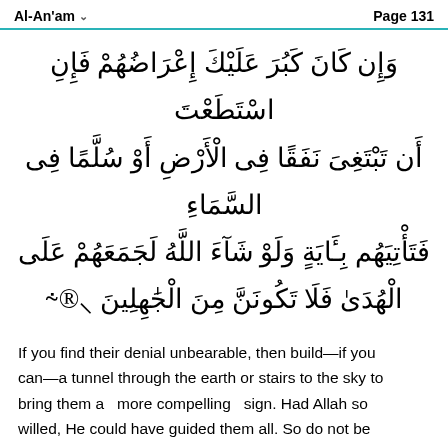Al-An'am   Page 131
وَإِن كَانَ كَبُرَ عَلَيْكَ إِعْرَاضُهُمْ فَإِنِ اسْتَطَعْتَ أَن تَبْتَغِىَ نَفَقًا فِى الْأَرْضِ أَوْ سُلَّمًا فِى السَّمَاءِ فَتَأْتِيَهُم بِـَٔايَةٍۢ وَلَوْ شَآءَ اللَّهُ لَجَمَعَهُمْ عَلَى الْهُدَىٰ فَلَا تَكُونَنَّ مِنَ الْجَٰهِلِينَ ﴿٣٥﴾
If you find their denial unbearable, then build—if you can—a tunnel through the earth or stairs to the sky to bring them a more compelling sign. Had Allah so willed, He could have guided them all. So do not be one of those ignorant of this fact .